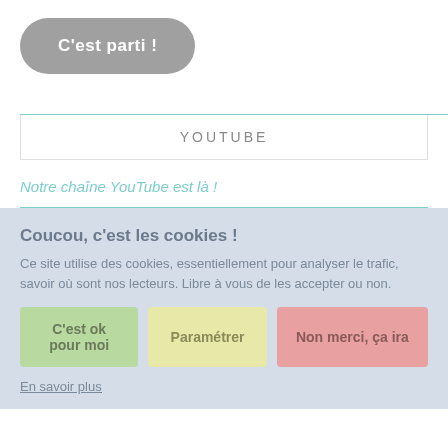[Figure (other): A rounded pill-shaped grey button labeled 'C'est parti !']
YOUTUBE
Notre chaîne YouTube est là !
Coucou, c'est les cookies !
Ce site utilise des cookies, essentiellement pour analyser le trafic, savoir où sont nos lecteurs. Libre à vous de les accepter ou non.
[Figure (other): Three buttons: 'C'est ok pour moi' (green), 'Paramétrer' (yellow), 'Non merci, ça ira' (pink/red)]
En savoir plus